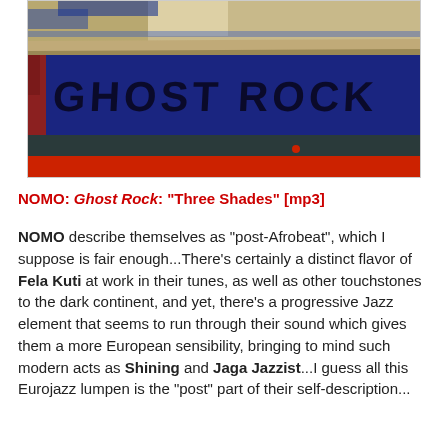[Figure (photo): Album cover for NOMO Ghost Rock — colorful painted layers of cream/tan at top, dark navy blue band in middle with 'GHOST ROCK' hand-lettered in black, dark teal band below, and red band at bottom.]
NOMO: Ghost Rock: "Three Shades" [mp3]
NOMO describe themselves as "post-Afrobeat", which I suppose is fair enough...There's certainly a distinct flavor of Fela Kuti at work in their tunes, as well as other touchstones to the dark continent, and yet, there's a progressive Jazz element that seems to run through their sound which gives them a more European sensibility, bringing to mind such modern acts as Shining and Jaga Jazzist...I guess all this Eurojazz lumpen is the "post" part of their self-description...